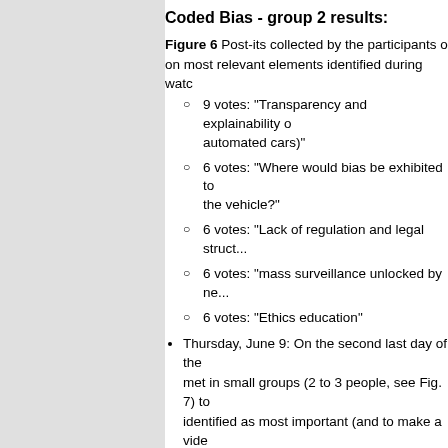Coded Bias - group 2 results:
Figure 6 Post-its collected by the participants on most relevant elements identified during watching:
9 votes: "Transparency and explainability o... automated cars)"
6 votes: "Where would bias be exhibited to... the vehicle?"
6 votes: "Lack of regulation and legal struct..."
6 votes: "mass surveillance unlocked by ne..."
6 votes: "Ethics education"
Thursday, June 9: On the second last day of the... met in small groups (2 to 3 people, see Fig. 7) to... identified as most important (and to make a vide... create a Youtube playlist of most-impactful vide... related to the seminar. The results were collected... seminar and distributed among the participants.... can be found in Sections 4.1 or 4.2, among othe... shown in Section 4.3.
Figure 7 PCouples who either had a curated co... playlist on Thursday bilaterally (<= 5 minutes ea...
Friday, June 10: The last day of the seminar has... first half of this activity was devoted to two pane...